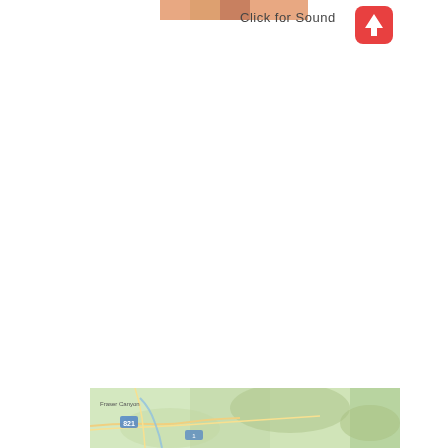[Figure (photo): Partial photo of a person visible at the very top of the page, cropped]
Click for Sound
[Figure (screenshot): Red rounded square button with a white upward arrow icon]
[Figure (map): A topographic/road map showing a region with roads, terrain shading, and place labels including Fraser Canyon]